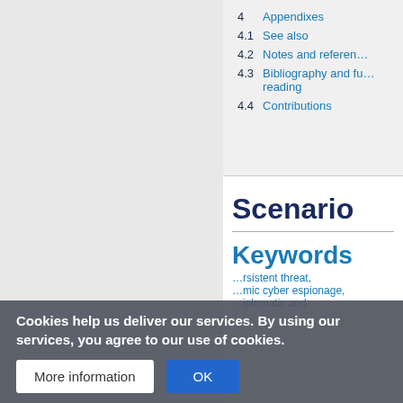4  Appendixes
4.1  See also
4.2  Notes and references
4.3  Bibliography and further reading
4.4  Contributions
Scenario
Keywords
...rsistent threat, ...mic cyber espionage, ...iplomatic and
Cookies help us deliver our services. By using our services, you agree to our use of cookies.